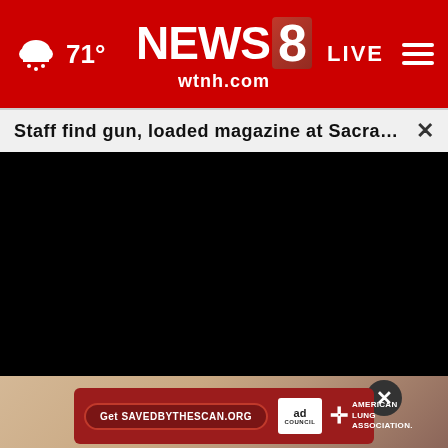[Figure (screenshot): WTNH News 8 website header with red background, weather icon showing rain cloud and 71°, NEWS 8 wtnh.com logo in center, LIVE button and hamburger menu on right]
Staff find gun, loaded magazine at Sacramento el...
[Figure (photo): Black video player area (dark/blank screen)]
[Figure (photo): Partial photo with tan/skin background tones, ad banner overlay: Get SAVEDBYTHESCAN.ORG, ad council logo, American Lung Association logo]